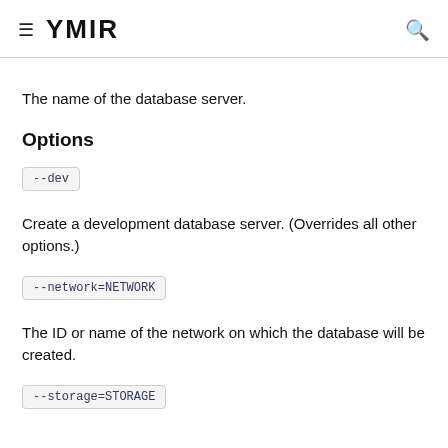YMIR
The name of the database server.
Options
--dev
Create a development database server. (Overrides all other options.)
--network=NETWORK
The ID or name of the network on which the database will be created.
--storage=STORAGE